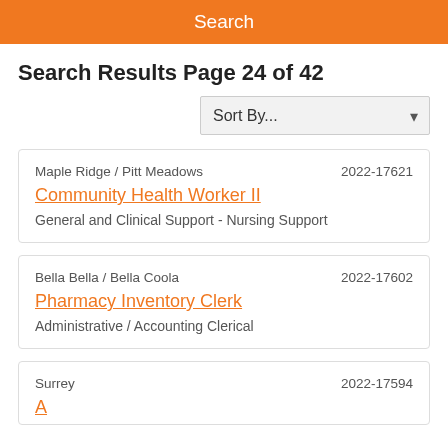Search
Search Results Page 24 of 42
Sort By...
Maple Ridge / Pitt Meadows | 2022-17621 | Community Health Worker II | General and Clinical Support - Nursing Support
Bella Bella / Bella Coola | 2022-17602 | Pharmacy Inventory Clerk | Administrative / Accounting Clerical
Surrey | 2022-17594 | (partial title visible)